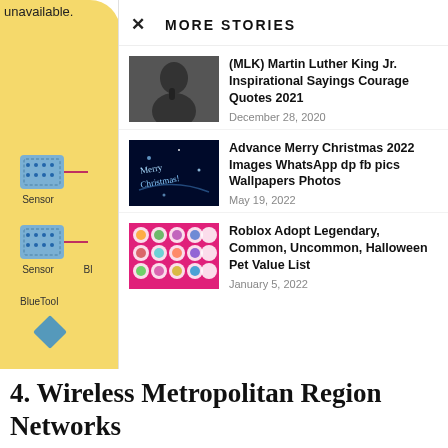unavailable.
[Figure (engineering-diagram): Sensor and Bluetooth network diagram on yellow background showing sensor chips connected with lines and a diamond shape representing Bluetooth, with labels: Sensor, Sensor, Bl, BlueTool]
MORE STORIES
[Figure (photo): Black and white photo of Martin Luther King Jr. speaking at a microphone]
(MLK) Martin Luther King Jr. Inspirational Sayings Courage Quotes 2021
December 28, 2020
[Figure (photo): Dark blue image with glowing Merry Christmas text and sparkles]
Advance Merry Christmas 2022 Images WhatsApp dp fb pics Wallpapers Photos
May 19, 2022
[Figure (photo): Colorful Roblox Adopt Me pet icons grid on pink background]
Roblox Adopt Legendary, Common, Uncommon, Halloween Pet Value List
January 5, 2022
4. Wireless Metropolitan Region Networks